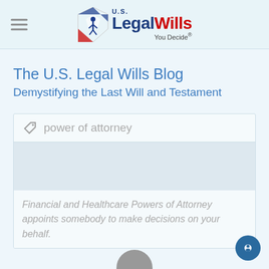U.S. LegalWills — You Decide®
The U.S. Legal Wills Blog
Demystifying the Last Will and Testament
power of attorney
Financial and Healthcare Powers of Attorney appoints somebody to make decisions on your behalf.